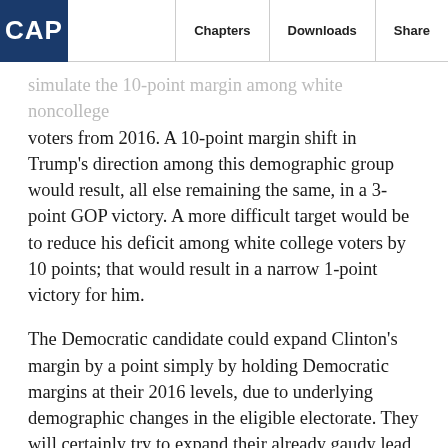CAP | Chapters | Downloads | Share
...simulate the 10-point margin among white noncollege voters from 2016. A 10-point margin shift in Trump's direction among this demographic group would result, all else remaining the same, in a 3-point GOP victory. A more difficult target would be to reduce his deficit among white college voters by 10 points; that would result in a narrow 1-point victory for him.
The Democratic candidate could expand Clinton's margin by a point simply by holding Democratic margins at their 2016 levels, due to underlying demographic changes in the eligible electorate. They will certainly try to expand their already gaudy lead among white college graduates. But the most effective move would be to get their white noncollege margin back to where it was in 2012; that would result in a